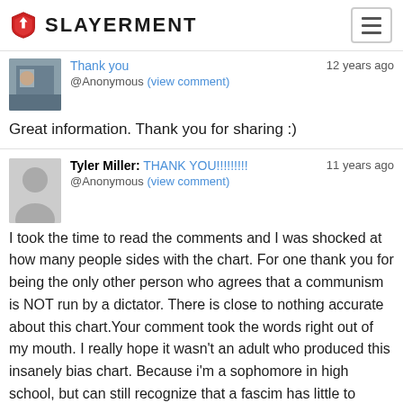SLAYERMENT
Thank you  12 years ago
@Anonymous (view comment)
Great information. Thank you for sharing :)
Tyler Miller: THANK YOU!!!!!!!!!  11 years ago
@Anonymous (view comment)
I took the time to read the comments and I was shocked at how many people sides with the chart. For one thank you for being the only other person who agrees that a communism is NOT run by a dictator. There is close to nothing accurate about this chart.Your comment took the words right out of my mouth. I really hope it wasn't an adult who produced this insanely bias chart. Because i'm a sophomore in high school, but can still recognize that a fascim has little to nothing to do with